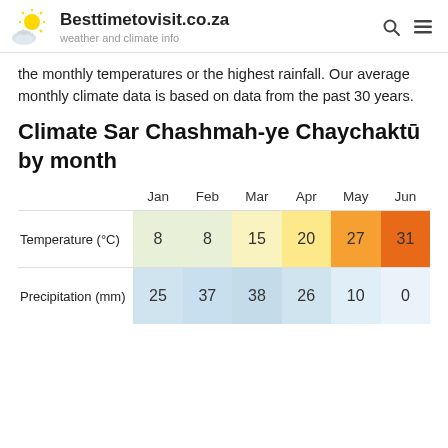Besttimetovisit.co.za — weather and climate info
the monthly temperatures or the highest rainfall. Our average monthly climate data is based on data from the past 30 years.
Climate Sar Chashmah-ye Chaychaktū by month
|  | Jan | Feb | Mar | Apr | May | Jun |
| --- | --- | --- | --- | --- | --- | --- |
| Temperature (°C) | 8 | 8 | 15 | 20 | 27 | 31 |
| Precipitation (mm) | 25 | 37 | 38 | 26 | 10 | 0 |